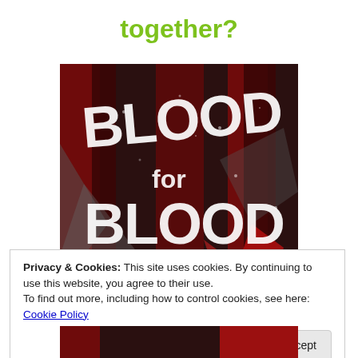together?
[Figure (illustration): Dark red and grey dramatic background with stylized white distressed text reading 'Blood for Blood']
Privacy & Cookies: This site uses cookies. By continuing to use this website, you agree to their use.
To find out more, including how to control cookies, see here: Cookie Policy
Close and accept